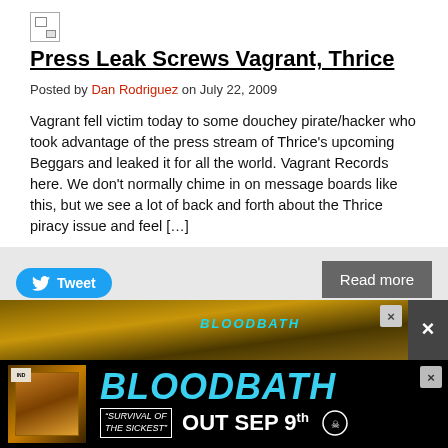[Figure (illustration): Small broken image icon placeholder]
Press Leak Screws Vagrant, Thrice
Posted by Dan Rodriguez on July 22, 2009
Vagrant fell victim today to some douchey pirate/hacker who took advantage of the press stream of Thrice’s upcoming Beggars and leaked it for all the world. Vagrant Records here. We don’t normally chime in on message boards like this, but we see a lot of back and forth about the Thrice piracy issue and feel […]
[Figure (screenshot): Tweet button and Read more button in a light gray card footer]
[Figure (photo): Bloodbath advertisement banner: BLOODBATH - Survival of the Sickest - OUT SEP 9th]